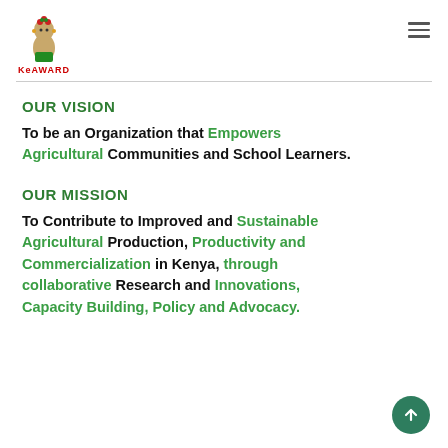[Figure (logo): KeAWARD logo: stylized illustration of a woman with flowers, text 'KeAWARD' below in red]
OUR VISION
To be an Organization that Empowers Agricultural Communities and School Learners.
OUR MISSION
To Contribute to Improved and Sustainable Agricultural Production, Productivity and Commercialization in Kenya, through collaborative Research and Innovations, Capacity Building, Policy and Advocacy.